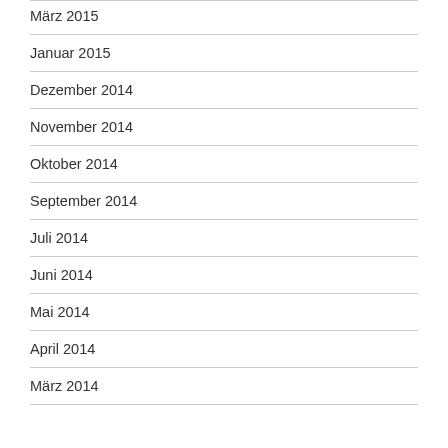März 2015
Januar 2015
Dezember 2014
November 2014
Oktober 2014
September 2014
Juli 2014
Juni 2014
Mai 2014
April 2014
März 2014